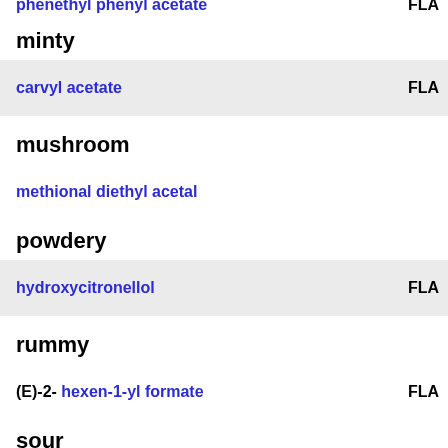phenethyl phenyl acetate   FLA
minty
carvyl acetate   FLA
mushroom
methional diethyl acetal
powdery
hydroxycitronellol   FLA
rummy
(E)-2- hexen-1-yl formate   FLA
sour
2,4- dimethyl-2-pentenoic acid
spicy